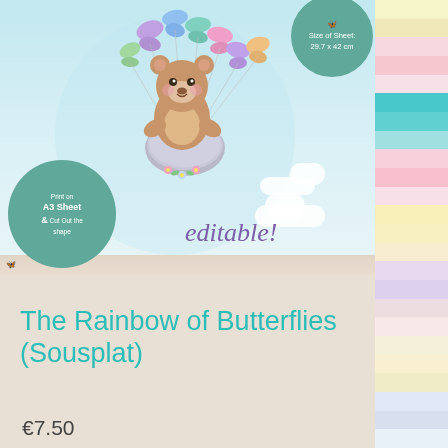[Figure (illustration): Product listing page for a crafting/printable item. Top portion shows a whimsical illustration of a cute brown bear floating on a rock held up by colorful butterflies against a light blue sky background. Top right has a teal circular badge reading 'Size of Sheet 29.7 x 42 cm'. Bottom left has a teal circular badge reading 'Print on A3 Sheet & Cut Out the shape'. Bottom right area of the illustration shows italic purple text 'editable!'. Right side of the page has a strip of pastel watercolor swatches in yellow, pink, teal, lavender, and other colors.]
The Rainbow of Butterflies (Sousplat)
€7.50